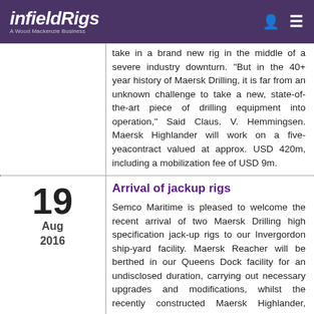infieldRigs — A Wood Mackenzie Business
take in a brand new rig in the middle of a severe industry downturn. "But in the 40+ year history of Maersk Drilling, it is far from an unknown challenge to take a new, state-of-the-art piece of drilling equipment into operation," Said Claus. V. Hemmingsen. Maersk Highlander will work on a five-yeacontract valued at approx. USD 420m, including a mobilization fee of USD 9m.
Arrival of jackup rigs
19
Aug
2016
Semco Maritime is pleased to welcome the recent arrival of two Maersk Drilling high specification jack-up rigs to our Invergordon ship-yard facility. Maersk Reacher will be berthed in our Queens Dock facility for an undisclosed duration, carrying out necessary upgrades and modifications, whilst the recently constructed Maersk Highlander, following arrival by heavy lift from Singapore, will be at quayside for a short time, carrying out various commissioning tasks prior to naming